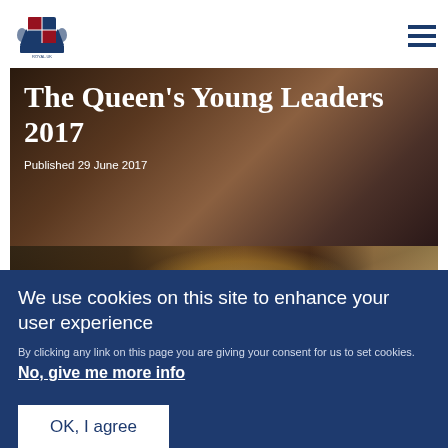Royal.uk header with crest logo and navigation menu
The Queen's Young Leaders 2017
Published 29 June 2017
[Figure (photo): Photo of people at a formal event, partially cropped]
[Figure (photo): Photo of a man in a suit at a formal indoor event, with chandeliers and ornate decor in background]
We use cookies on this site to enhance your user experience
By clicking any link on this page you are giving your consent for us to set cookies. No, give me more info
OK, I agree